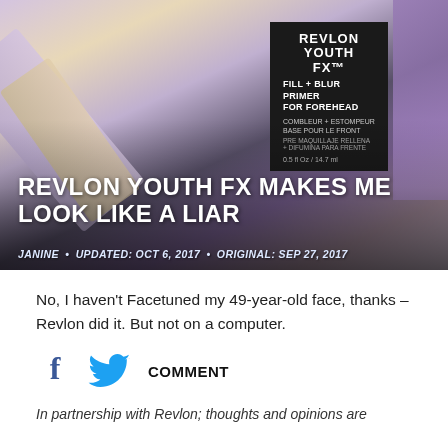[Figure (photo): Revlon Youth FX makeup products laid out on a white surface, including a foundation tube and a forehead primer in black packaging with white and purple branding.]
REVLON YOUTH FX MAKES ME LOOK LIKE A LIAR
JANINE • UPDATED: OCT 6, 2017 • ORIGINAL: SEP 27, 2017
No, I haven't Facetuned my 49-year-old face, thanks – Revlon did it. But not on a computer.
[Figure (infographic): Social sharing icons: Facebook (f) icon, Twitter bird icon, and COMMENT label]
In partnership with Revlon; thoughts and opinions are